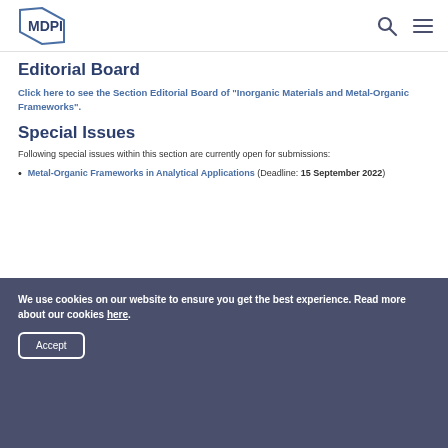MDPI
Editorial Board
Click here to see the Section Editorial Board of "Inorganic Materials and Metal-Organic Frameworks".
Special Issues
Following special issues within this section are currently open for submissions:
Metal-Organic Frameworks in Analytical Applications (Deadline: 15 September 2022)
We use cookies on our website to ensure you get the best experience. Read more about our cookies here.